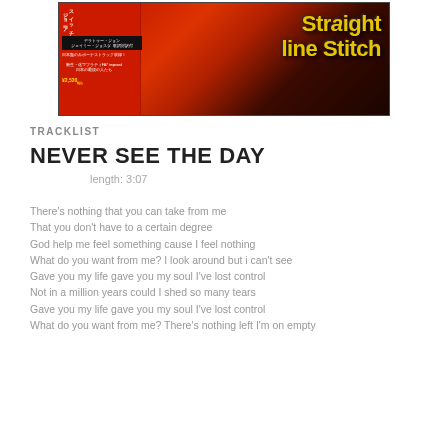[Figure (photo): Album cover photo of 'Straight Line Stitch' with Japanese obi strip on the left side showing Japanese text and pricing, red background with band name in yellow grunge font]
TRACKLIST
NEVER SEE THE DAY
length: 3:07
There's nothing that you can take from me
That you don't have to a certain degree
God help me feel something cause I feel nothing
What do you want from me? I look around but i can't see
Gave you my life gave you my soul I've lost control
Not in a million years could I shed so many tears
Gave you my life gave you my soul I've lost control
What do you want from me? There's nothing left I'm on empty